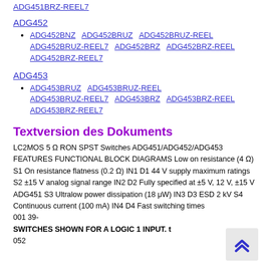ADG451BRZ-REEL7
ADG452
ADG452BNZ  ADG452BRUZ  ADG452BRUZ-REEL  ADG452BRUZ-REEL7  ADG452BRZ  ADG452BRZ-REEL  ADG452BRZ-REEL7
ADG453
ADG453BRUZ  ADG453BRUZ-REEL  ADG453BRUZ-REEL7  ADG453BRZ  ADG453BRZ-REEL  ADG453BRZ-REEL7
Textversion des Dokuments
LC2MOS 5 Ω RON SPST Switches ADG451/ADG452/ADG453 FEATURES FUNCTIONAL BLOCK DIAGRAMS Low on resistance (4 Ω) S1 On resistance flatness (0.2 Ω) IN1 D1 44 V supply maximum ratings S2 ±15 V analog signal range IN2 D2 Fully specified at ±5 V, 12 V, ±15 V ADG451 S3 Ultralow power dissipation (18 μW) IN3 D3 ESD 2 kV S4 Continuous current (100 mA) IN4 D4 Fast switching times 001 39- SWITCHES SHOWN FOR A LOGIC 1 INPUT. t 052